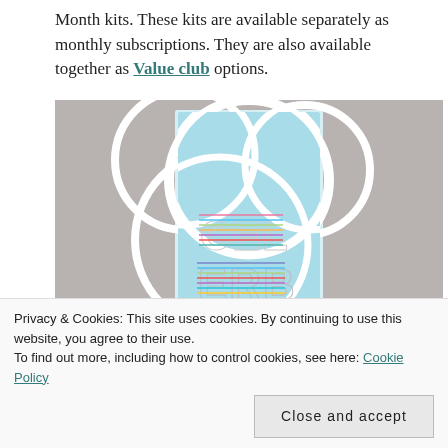Month kits. These kits are available separately as monthly subscriptions. They are also available together as Value club options.
[Figure (photo): A crafting card with the letters CEL and ERB visible, featuring colorful striped die-cut letters on a blue background with white circular/curved die-cut overlays. The card is photographed on a gray background.]
Privacy & Cookies: This site uses cookies. By continuing to use this website, you agree to their use.
To find out more, including how to control cookies, see here: Cookie Policy
Close and accept